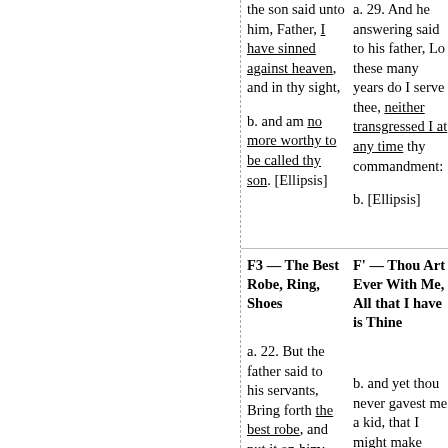the son said unto him, Father, I have sinned against heaven, and in thy sight,

b. and am no more worthy to be called thy son. [Ellipsis]
a. 29. And he answering said to his father, Lo these many years do I serve thee, neither transgressed I at any time thy commandment:

b. [Ellipsis]
F3 — The Best Robe, Ring, Shoes
F' — Thou Art Ever With Me, All that I have is Thine
a. 22. But the father said to his servants, Bring forth the best robe, and put it on him; and put a ring on his hand, and
b. and yet thou never gavest me a kid, that I might make merry with my friends: 30. But as soon as this thy son was come, which hath devoured thy living with